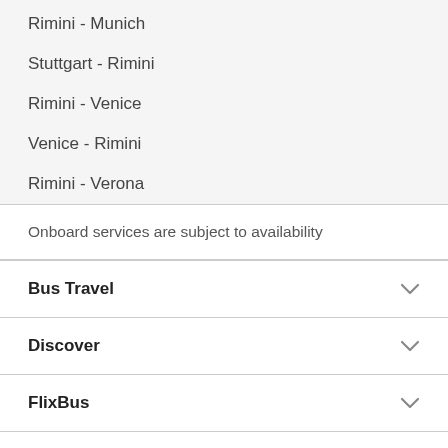Rimini - Munich
Stuttgart - Rimini
Rimini - Venice
Venice - Rimini
Rimini - Verona
Onboard services are subject to availability
Bus Travel
Discover
FlixBus
Customer Service